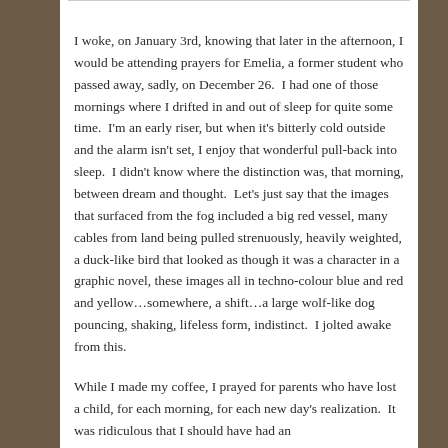I woke, on January 3rd, knowing that later in the afternoon, I would be attending prayers for Emelia, a former student who passed away, sadly, on December 26.  I had one of those mornings where I drifted in and out of sleep for quite some time.  I'm an early riser, but when it's bitterly cold outside and the alarm isn't set, I enjoy that wonderful pull-back into sleep.  I didn't know where the distinction was, that morning, between dream and thought.  Let's just say that the images that surfaced from the fog included a big red vessel, many cables from land being pulled strenuously, heavily weighted, a duck-like bird that looked as though it was a character in a graphic novel, these images all in techno-colour blue and red and yellow…somewhere, a shift…a large wolf-like dog pouncing, shaking, lifeless form, indistinct.  I jolted awake from this.
While I made my coffee, I prayed for parents who have lost a child, for each morning, for each new day's realization.  It was ridiculous that I should have had an